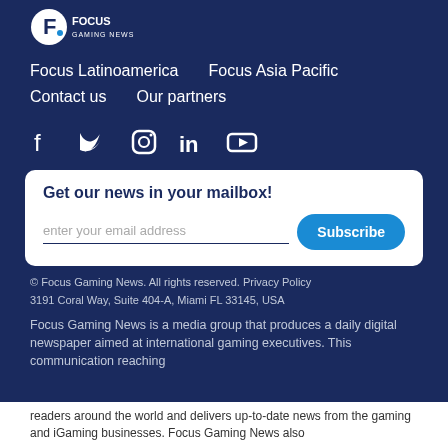[Figure (logo): Focus Gaming News logo — circular F icon with text 'FOCUS GAMING NEWS']
Focus Latinoamerica
Focus Asia Pacific
Contact us
Our partners
[Figure (other): Social media icons: Facebook, Twitter, Instagram, LinkedIn, YouTube]
Get our news in your mailbox!
enter your email address
Subscribe
© Focus Gaming News. All rights reserved. Privacy Policy
3191 Coral Way, Suite 404-A, Miami FL 33145, USA
Focus Gaming News is a media group that produces a daily digital newspaper aimed at international gaming executives. This communication reaching readers around the world and delivers up-to-date news from the gaming and iGaming businesses. Focus Gaming News also